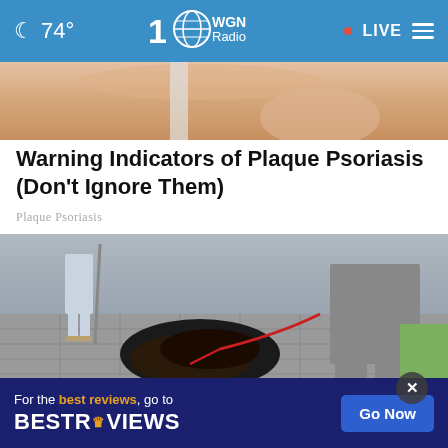74° WGN Radio LIVE
[Figure (photo): Close-up photo of skin, partial view, top article image strip]
Warning Indicators of Plaque Psoriasis (Don't Ignore Them)
Plaque Psoriasis
[Figure (photo): Outdoor photo showing people with a dog on a leash on a tiled or paved surface]
For the best reviews, go to BESTREVIEWS — Go Now